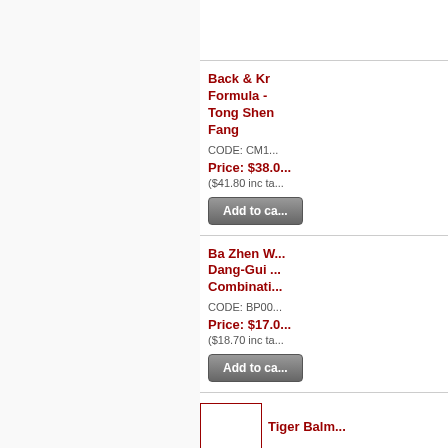Back & Knee Formula - Tong Shen Fang
CODE: CM1...
Price: $38.0...
($41.80 inc ta...
Ba Zhen W... Dang-Gui ... Combinati...
CODE: BP00...
Price: $17.0...
($18.70 inc ta...
Tiger Balm...